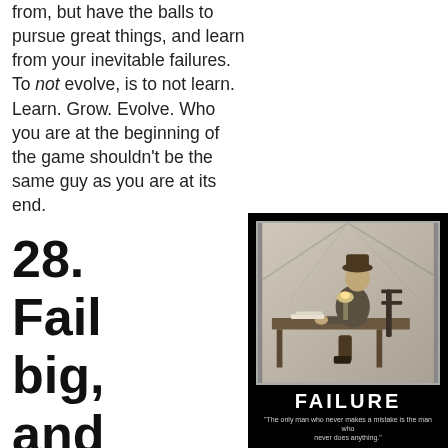from, but have the balls to pursue great things, and learn from your inevitable failures. To not evolve, is to not learn. Learn. Grow. Evolve. Who you are at the beginning of the game shouldn't be the same guy as you are at its end.
28. Fail big, and fail
[Figure (photo): A motivational poster with a black background. A black-and-white historical photograph shows a man in a hat sitting at a wooden desk in what appears to be a tent, writing by lamplight. Below the photo the word FAILURE is printed in large white capital letters, followed by the quote: 'The only man who never makes a mistake is the man who never does anything.']